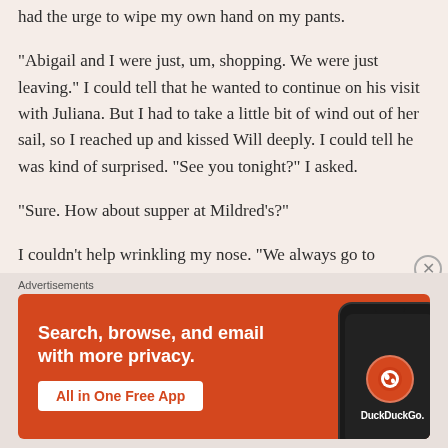had the urge to wipe my own hand on my pants.
“Abigail and I were just, um, shopping. We were just leaving.” I could tell that he wanted to continue on his visit with Juliana. But I had to take a little bit of wind out of her sail, so I reached up and kissed Will deeply. I could tell he was kind of surprised. “See you tonight?” I asked.
“Sure. How about supper at Mildred’s?”
I couldn’t help wrinkling my nose. “We always go to Mildred’s. How about we go uptown to Saunche’s?”
[Figure (infographic): DuckDuckGo advertisement banner with orange background. Text reads: Search, browse, and email with more privacy. All in One Free App. Shows a phone with DuckDuckGo logo.]